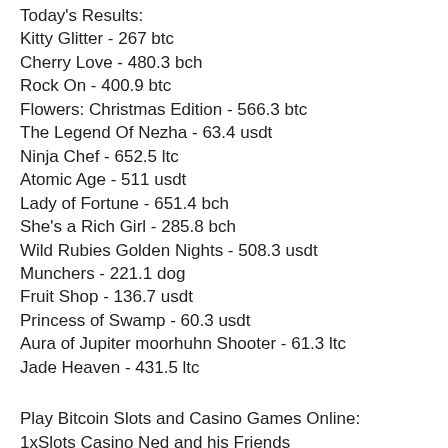Today's Results:
Kitty Glitter - 267 btc
Cherry Love - 480.3 bch
Rock On - 400.9 btc
Flowers: Christmas Edition - 566.3 btc
The Legend Of Nezha - 63.4 usdt
Ninja Chef - 652.5 ltc
Atomic Age - 511 usdt
Lady of Fortune - 651.4 bch
She's a Rich Girl - 285.8 bch
Wild Rubies Golden Nights - 508.3 usdt
Munchers - 221.1 dog
Fruit Shop - 136.7 usdt
Princess of Swamp - 60.3 usdt
Aura of Jupiter moorhuhn Shooter - 61.3 ltc
Jade Heaven - 431.5 ltc
Play Bitcoin Slots and Casino Games Online:
1xSlots Casino Ned and his Friends
BetChain Casino Pinocchio